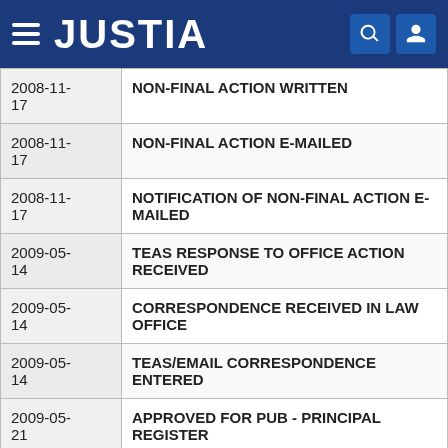JUSTIA
| Date | Event |
| --- | --- |
| 2008-11-17 | NON-FINAL ACTION WRITTEN |
| 2008-11-17 | NON-FINAL ACTION E-MAILED |
| 2008-11-17 | NOTIFICATION OF NON-FINAL ACTION E-MAILED |
| 2009-05-14 | TEAS RESPONSE TO OFFICE ACTION RECEIVED |
| 2009-05-14 | CORRESPONDENCE RECEIVED IN LAW OFFICE |
| 2009-05-14 | TEAS/EMAIL CORRESPONDENCE ENTERED |
| 2009-05-21 | APPROVED FOR PUB - PRINCIPAL REGISTER |